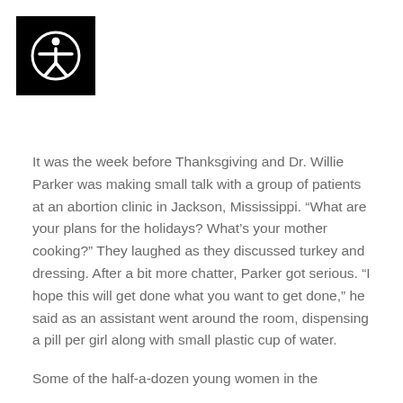[Figure (logo): Accessibility icon: white circle with a stylized human figure on a black square background]
It was the week before Thanksgiving and Dr. Willie Parker was making small talk with a group of patients at an abortion clinic in Jackson, Mississippi. “What are your plans for the holidays? What’s your mother cooking?” They laughed as they discussed turkey and dressing. After a bit more chatter, Parker got serious. “I hope this will get done what you want to get done,” he said as an assistant went around the room, dispensing a pill per girl along with small plastic cup of water.
Some of the half-a-dozen young women in the